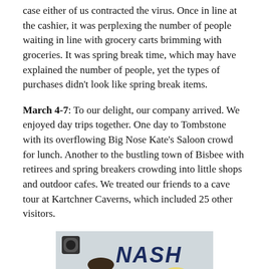case either of us contracted the virus. Once in line at the cashier, it was perplexing the number of people waiting in line with grocery carts brimming with groceries. It was spring break time, which may have explained the number of people, yet the types of purchases didn't look like spring break items.
March 4-7: To our delight, our company arrived. We enjoyed day trips together. One day to Tombstone with its overflowing Big Nose Kate's Saloon crowd for lunch. Another to the bustling town of Bisbee with retirees and spring breakers crowding into little shops and outdoor cafes. We treated our friends to a cave tour at Kartchner Caverns, which included 25 other visitors.
[Figure (photo): A photo of people standing in front of a Nash RV/trailer with a speaker box visible in the upper left. The Nash logo is prominently displayed. Three people are visible: a man with sunglasses on the left, a person in the middle, and a blonde person on the right.]